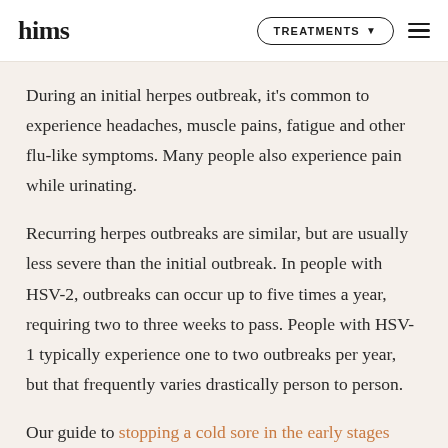hims | TREATMENTS
During an initial herpes outbreak, it's common to experience headaches, muscle pains, fatigue and other flu-like symptoms. Many people also experience pain while urinating.
Recurring herpes outbreaks are similar, but are usually less severe than the initial outbreak. In people with HSV-2, outbreaks can occur up to five times a year, requiring two to three weeks to pass. People with HSV-1 typically experience one to two outbreaks per year, but that frequently varies drastically person to person.
Our guide to stopping a cold sore in the early stages